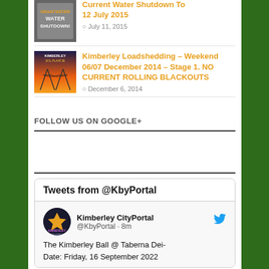Current Water Shutdown To 12 July 2015 — July 11, 2015
Kimberley Loadshedding – Weekend 06/07 December 2014 – Stage 1. NO CURRENT ROLLING BLACKOUTS — December 6, 2014
FOLLOW US ON GOOGLE+
Tweets from @KbyPortal
Kimberley CityPortal @KbyPortal · 8m — The Kimberley Ball @ Taberna Dei- Date: Friday, 16 September 2022